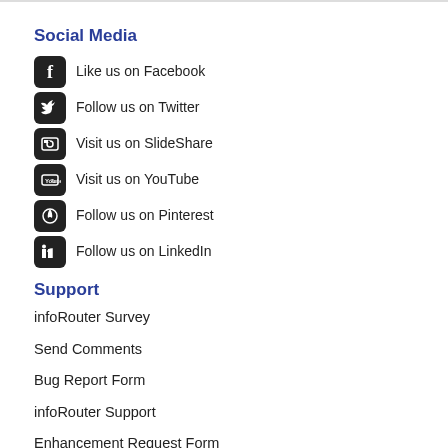Social Media
Like us on Facebook
Follow us on Twitter
Visit us on SlideShare
Visit us on YouTube
Follow us on Pinterest
Follow us on LinkedIn
Support
infoRouter Survey
Send Comments
Bug Report Form
infoRouter Support
Enhancement Request Form